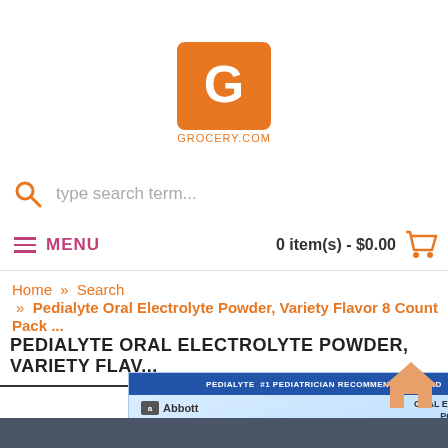[Figure (logo): Grocery.com logo — orange shopping bag with G letter and GROCERY.COM text below]
type search term...
≡ MENU    0 item(s) - $0.00 🛒
Home » Search
» Pedialyte Oral Electrolyte Powder, Variety Flavor 8 Count Pack ...
PEDIALYTE ORAL ELECTROLYTE POWDER, VARIETY FLAV...
[Figure (photo): Two Pedialyte Oral Electrolyte Powder boxes side by side, showing Abbott branding, blue header with #1 Pediatrician Recommended Brand, and large Pedialyte oval logo in purple/violet]